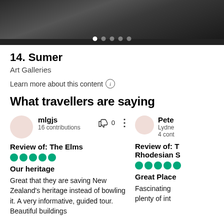[Figure (photo): Dark interior photo strip showing building/gallery interior with navigation dots]
14. Sumer
Art Galleries
Learn more about this content ⓘ
What travellers are saying
mlgjs
16 contributions
Review of: The Elms
Our heritage
Great that they are saving New Zealand's heritage instead of bowling it. A very informative, guided tour. Beautiful buildings
Pete
Lydne
4 cont
Review of: T Rhodesian S
Great Place
Fascinating plenty of int